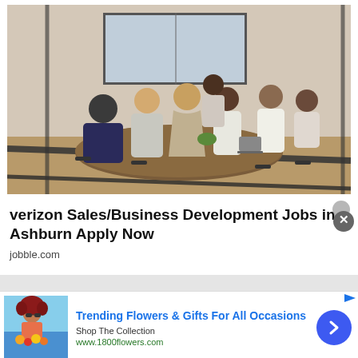[Figure (photo): Business professionals sitting around a conference table in a meeting room with glass walls, viewed from outside through the glass. Multiple people engaged in discussion.]
verizon Sales/Business Development Jobs in Ashburn Apply Now
jobble.com
[Figure (photo): Woman with red curly hair holding colorful flowers, used in a flowers and gifts advertisement.]
Trending Flowers & Gifts For All Occasions
Shop The Collection
www.1800flowers.com